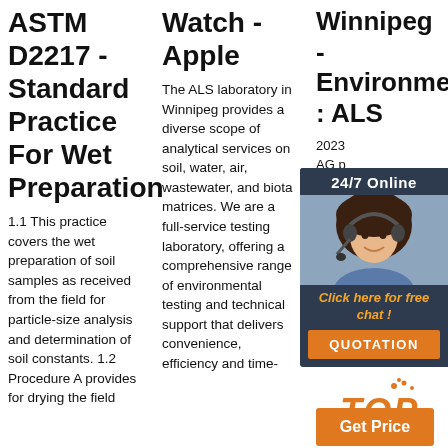ASTM D2217 - Standard Practice For Wet Preparation
1.1 This practice covers the wet preparation of soil samples as received from the field for particle-size analysis and determination of soil constants. 1.2 Procedure A provides for drying the field
Watch - Apple
The ALS laboratory in Winnipeg provides a diverse scope of analytical services on soil, water, air, wastewater, and biota matrices. We are a full-service testing laboratory, offering a comprehensive range of environmental testing and technical support that delivers convenience, efficiency and time-saving benefits.
Winnipeg - Environment : ALS
2023 AG provides and chemical the b production in titration chromatography, electrochemistry, and spectroscopy.
[Figure (photo): Customer service representative with headset, chat widget overlay with dark background, orange CTA button labeled QUOTATION]
[Figure (logo): TOP logo in orange italic text with decorative dots]
Get Price